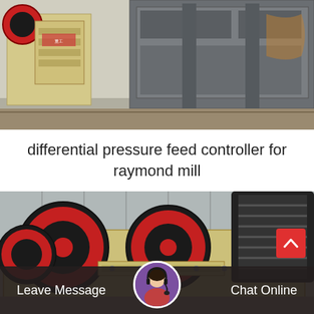[Figure (photo): Industrial jaw crushers and large heavy machinery equipment in cream/beige and grey colors, parked in an outdoor industrial yard]
differential pressure feed controller for raymond mill
[Figure (photo): Close-up of heavy industrial jaw crushers with large red and black flywheel discs, cream/beige machine body, in an industrial setting]
Leave Message
Chat Online